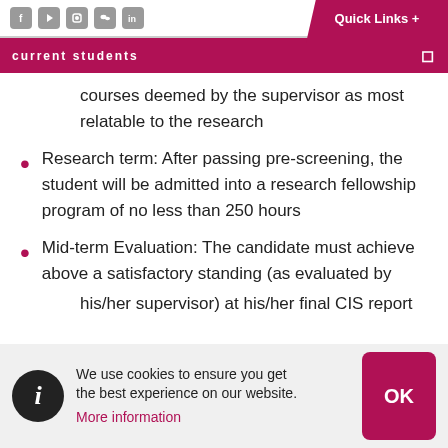current students | Quick Links +
courses deemed by the supervisor as most relatable to the research
Research term: After passing pre-screening, the student will be admitted into a research fellowship program of no less than 250 hours
Mid-term Evaluation: The candidate must achieve above a satisfactory standing (as evaluated by his/her supervisor) at his/her final CIS report (to be
We use cookies to ensure you get the best experience on our website. More information